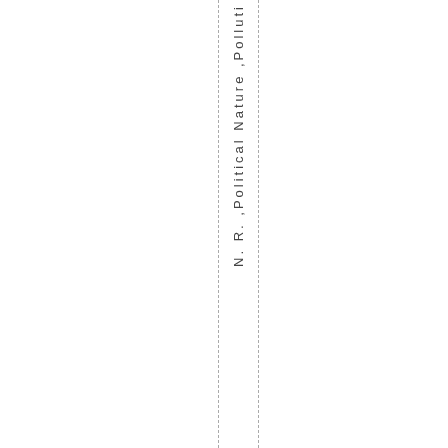N. R. ,Political Nature ,Pollution ti